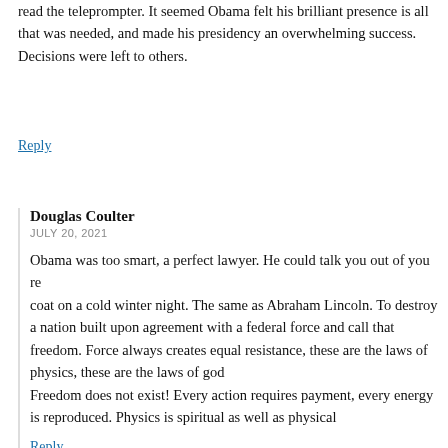read the teleprompter. It seemed Obama felt his brilliant presence is all that was needed, and made his presidency an overwhelming success. Decisions were left to others.
Reply
Douglas Coulter
JULY 20, 2021
Obama was too smart, a perfect lawyer. He could talk you out of you re coat on a cold winter night. The same as Abraham Lincoln. To destroy a nation built upon agreement with a federal force and call that freedom. Force always creates equal resistance, these are the laws of physics, these are the laws of god Freedom does not exist! Every action requires payment, every energy is reproduced. Physics is spiritual as well as physical
Reply